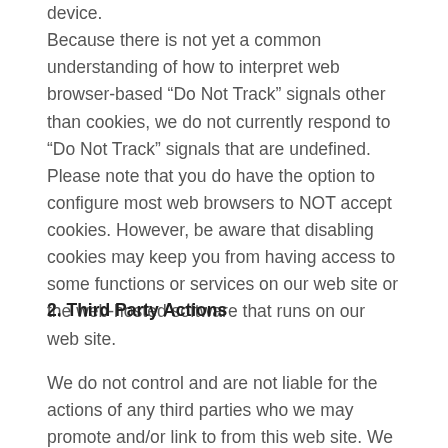device. Because there is not yet a common understanding of how to interpret web browser-based “Do Not Track” signals other than cookies, we do not currently respond to “Do Not Track” signals that are undefined. Please note that you do have the option to configure most web browsers to NOT accept cookies. However, be aware that disabling cookies may keep you from having access to some functions or services on our web site or the web-hosted software that runs on our web site.
2. Third Party Actions
We do not control and are not liable for the actions of any third parties who we may promote and/or link to from this web site. We pride ourselves in